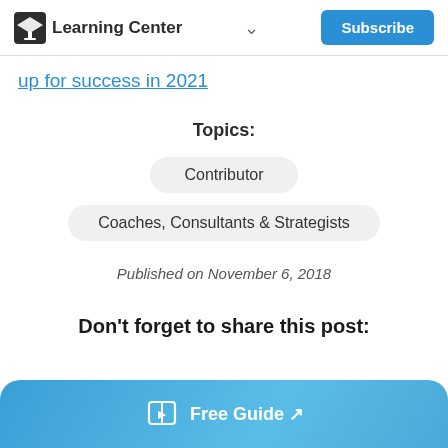Learning Center | Subscribe
up for success in 2021
Topics:
Contributor
Coaches, Consultants & Strategists
Published on November 6, 2018
Don't forget to share this post:
Free Guide ↗